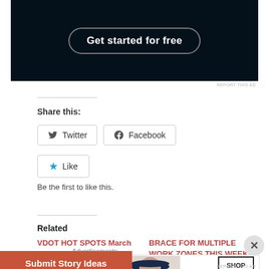[Figure (screenshot): Dark advertisement banner with 'Get started for free' button in oval outline]
REPORT THIS AD
Share this:
[Figure (screenshot): Twitter and Facebook share buttons with icons]
[Figure (screenshot): Like button with star icon]
Be the first to like this.
Related
VDOT HOT SPOTS March 17 – March 23, 2019
BRACE FOR MULTIPLE WORK ZONES THIS WEEK
Advertisements
[Figure (screenshot): Advertisement banner showing a woman with a hat and 'SHOP NOW >' button]
Submit Story Ideas
REPORT THIS AD